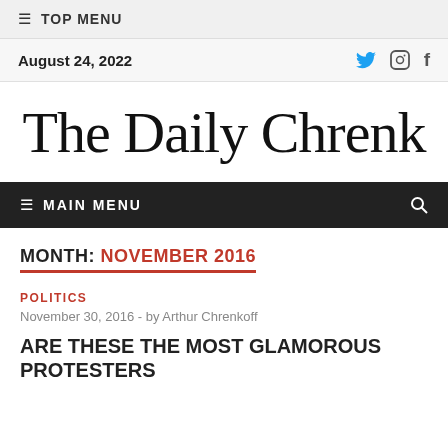≡ TOP MENU
August 24, 2022
The Daily Chrenk
≡ MAIN MENU
MONTH: NOVEMBER 2016
POLITICS
November 30, 2016 - by Arthur Chrenkoff
ARE THESE THE MOST GLAMOROUS PROTESTERS